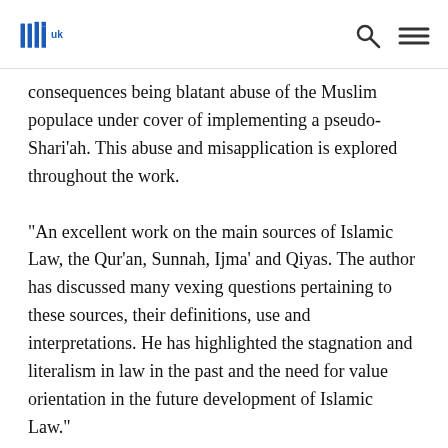IIIT UK
consequences being blatant abuse of the Muslim populace under cover of implementing a pseudo-Shari'ah. This abuse and misapplication is explored throughout the work.
"An excellent work on the main sources of Islamic Law, the Qur'an, Sunnah, Ijma' and Qiyas. The author has discussed many vexing questions pertaining to these sources, their definitions, use and interpretations. He has highlighted the stagnation and literalism in law in the past and the need for value orientation in the future development of Islamic Law."